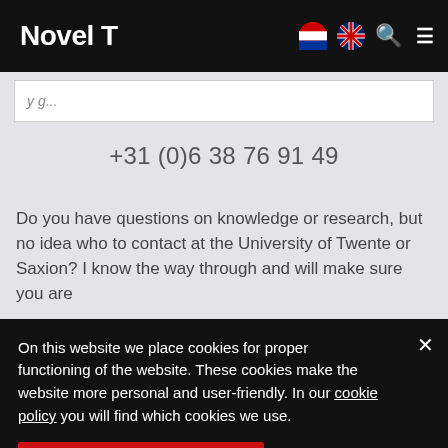Novel T
+31 (0)6 38 76 91 49
Do you have questions on knowledge or research, but no idea who to contact at the University of Twente or Saxion? I know the way through and will make sure you are
On this website we place cookies for proper functioning of the website. These cookies make the website more personal and user-friendly. In our cookie policy you will find which cookies we use.
Yes, I accept